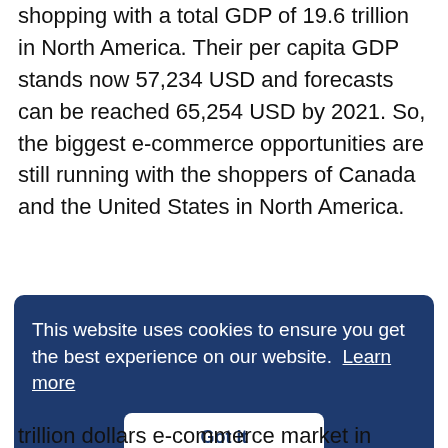shopping with a total GDP of 19.6 trillion in North America. Their per capita GDP stands now 57,234 USD and forecasts can be reached 65,254 USD by 2021. So, the biggest e-commerce opportunities are still running with the shoppers of Canada and the United States in North America.
This website uses cookies to ensure you get the best experience on our website. Learn more
Got it
trillion dollars e-commerce market in